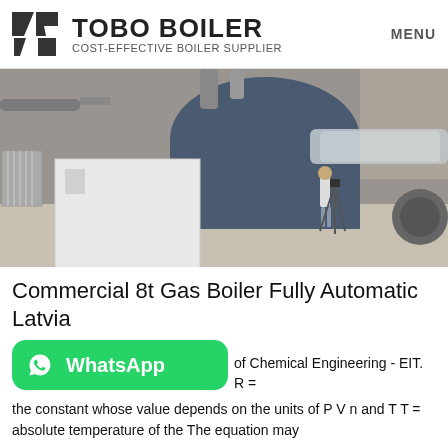TOBO BOILER COST-EFFECTIVE BOILER SUPPLIER | MENU
[Figure (photo): Industrial boiler facility with a large blue gas boiler, white control cabinet, pipes, and a person with a camera tripod on the factory floor.]
Commercial 8t Gas Boiler Fully Automatic Latvia
[Figure (logo): WhatsApp button (green rounded rectangle with WhatsApp phone icon and label 'WhatsApp')]
of Chemical Engineering - EIT. R = the constant whose value depends on the units of P V n and T T = absolute temperature of the The equation may